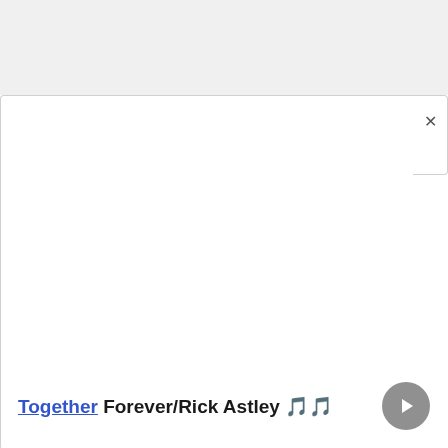[Figure (screenshot): A browser or app UI screenshot showing a white dialog/popup with a close (×) button in the top-right corner, and a bottom bar with a linked song title 'Together Forever/Rick Astley 🎵🎵' and a grey circular play button.]
Together Forever/Rick Astley 🎵🎵